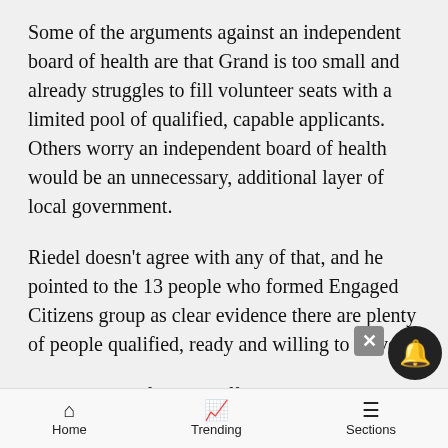Some of the arguments against an independent board of health are that Grand is too small and already struggles to fill volunteer seats with a limited pool of qualified, capable applicants. Others worry an independent board of health would be an unnecessary, additional layer of local government.
Riedel doesn't agree with any of that, and he pointed to the 13 people who formed Engaged Citizens group as clear evidence there are plenty of people qualified, ready and willing to serve.
“We tried to refute that off the bat by showing we have five MDs, three (masters of public health degrees), four nurses, a judge,” Riedel said. “These are all people who have devoted time to creating this
Home   Trending   Sections